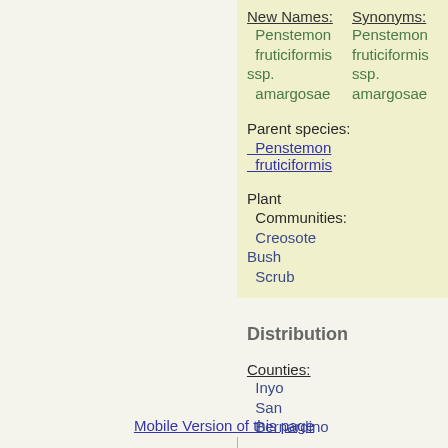New Names: Penstemon fruticiformis ssp. amargosae | Synonyms: Penstemon fruticiformis ssp. amargosae
Parent species: Penstemon fruticiformis
Plant Communities: Creosote Bush Scrub
Distribution
Counties: Inyo, San Bernardino
Mobile Version of this page